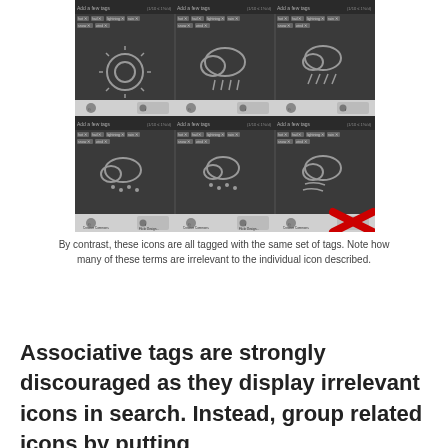[Figure (screenshot): A 3x2 grid of icon editor UI panels, all showing the same set of tags (hot, hail, lightning, rain, snow, wind). Each panel shows a different weather icon (sun, rain cloud, cloud with rain, snow/sleet, mixed cloud, windy). The bottom-right panel has a large red X overlay indicating an incorrect example.]
By contrast, these icons are all tagged with the same set of tags. Note how many of these terms are irrelevant to the individual icon described.
Associative tags are strongly discouraged as they display irrelevant icons in search. Instead, group related icons by putting